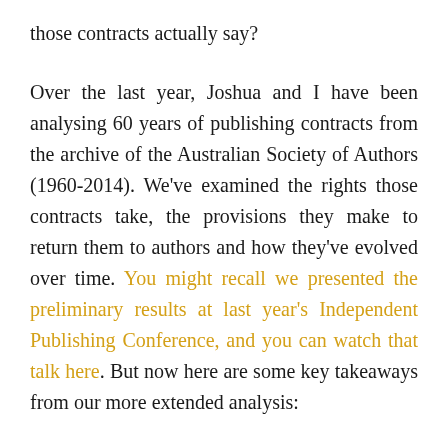those contracts actually say?
Over the last year, Joshua and I have been analysing 60 years of publishing contracts from the archive of the Australian Society of Authors (1960-2014). We've examined the rights those contracts take, the provisions they make to return them to authors and how they've evolved over time. You might recall we presented the preliminary results at last year's Independent Publishing Conference, and you can watch that talk here. But now here are some key takeaways from our more extended analysis: